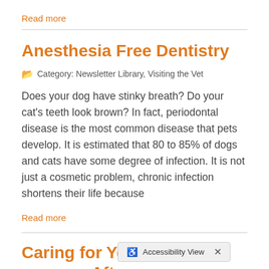Read more
Anesthesia Free Dentistry
Category: Newsletter Library, Visiting the Vet
Does your dog have stinky breath? Do your cat's teeth look brown? In fact, periodontal disease is the most common disease that pets develop. It is estimated that 80 to 85% of dogs and cats have some degree of infection. It is not just a cosmetic problem, chronic infection shortens their life because
Read more
Caring for Your Pet After